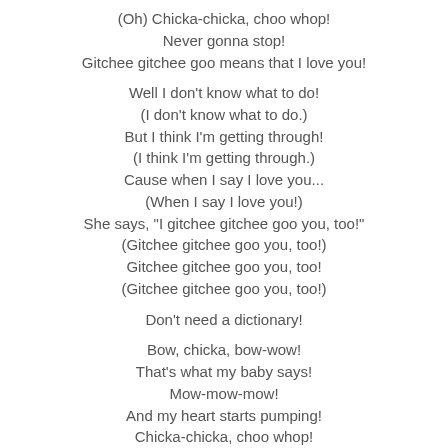(Oh) Chicka-chicka, choo whop!
Never gonna stop!
Gitchee gitchee goo means that I love you!
Well I don't know what to do!
(I don't know what to do.)
But I think I'm getting through!
(I think I'm getting through.)
Cause when I say I love you...
(When I say I love you!)
She says, "I gitchee gitchee goo you, too!"
(Gitchee gitchee goo you, too!)
Gitchee gitchee goo you, too!
(Gitchee gitchee goo you, too!)
Don't need a dictionary!
Bow, chicka, bow-wow!
That's what my baby says!
Mow-mow-mow!
And my heart starts pumping!
Chicka-chicka, choo whop!